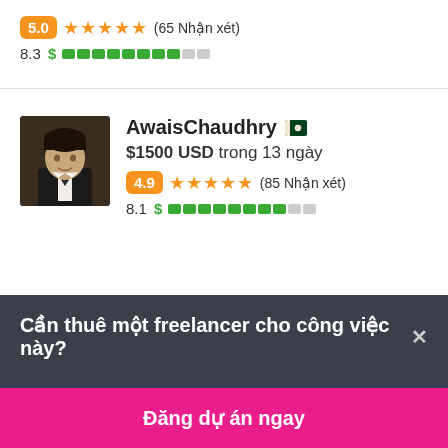5.0 ★★★★★ (65 Nhận xét)
8.3 $ ██████████░░
AwaisChaudhry 🇵🇰
$1500 USD trong 13 ngày
4.9 ★★★★★ (85 Nhận xét)
8.1 $ ████████░░
Cần thuê một freelancer cho công việc này?×
Đăng dự án ngay